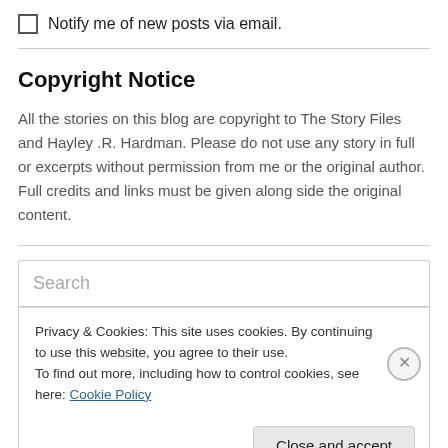Notify me of new posts via email.
Copyright Notice
All the stories on this blog are copyright to The Story Files and Hayley .R. Hardman. Please do not use any story in full or excerpts without permission from me or the original author. Full credits and links must be given along side the original content.
Search
Privacy & Cookies: This site uses cookies. By continuing to use this website, you agree to their use.
To find out more, including how to control cookies, see here: Cookie Policy
Close and accept